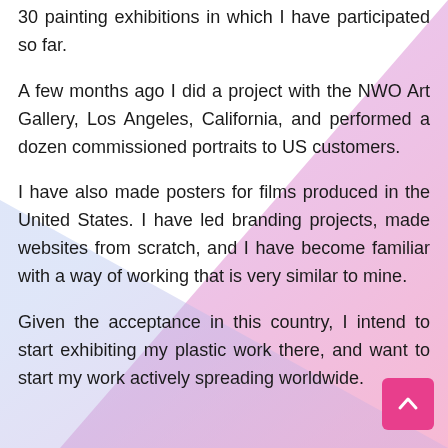30 painting exhibitions in which I have participated so far.
A few months ago I did a project with the NWO Art Gallery, Los Angeles, California, and performed a dozen commissioned portraits to US customers.
I have also made posters for films produced in the United States. I have led branding projects, made websites from scratch, and I have become familiar with a way of working that is very similar to mine.
Given the acceptance in this country, I intend to start exhibiting my plastic work there, and want to start my work actively spreading worldwide.